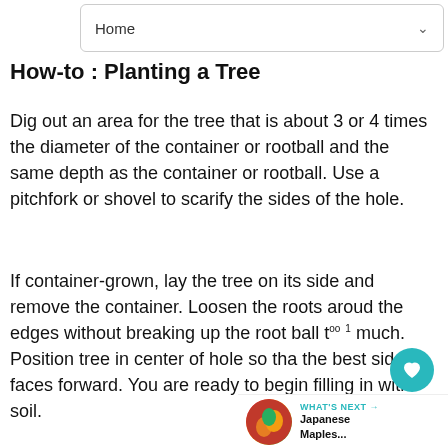Home
How-to : Planting a Tree
Dig out an area for the tree that is about 3 or 4 times the diameter of the container or rootball and the same depth as the container or rootball. Use a pitchfork or shovel to scarify the sides of the hole.
If container-grown, lay the tree on its side and remove the container. Loosen the roots around the edges without breaking up the root ball too much. Position tree in center of hole so that the best side faces forward. You are ready to begin filling in with soil.